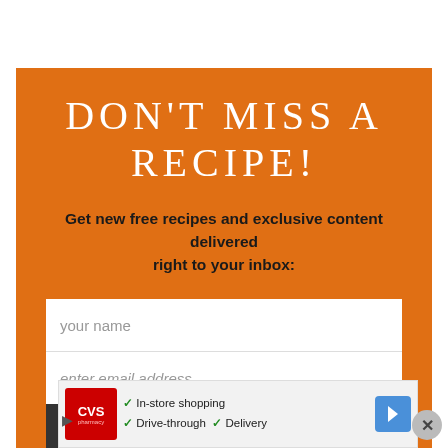DON'T MISS A RECIPE!
Get new free recipes and exclusive content delivered right to your inbox:
your name
enter email address
SUBSCRIBE »
[Figure (screenshot): CVS Pharmacy advertisement banner at the bottom showing In-store shopping, Drive-through, and Delivery options with a navigation arrow icon]